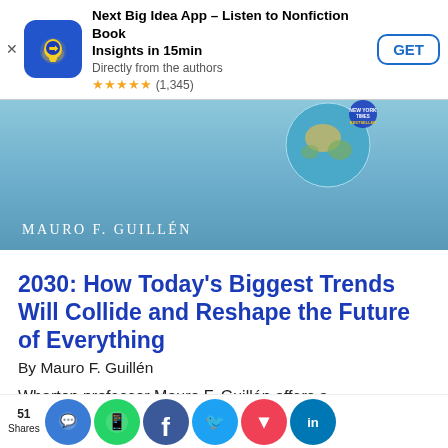[Figure (screenshot): App store advertisement banner for 'Next Big Idea App – Listen to Nonfiction Book Insights in 15min'. Includes app icon (blue with yellow lightbulb/arrow), app title, subtitle 'Directly from the authors', star rating ★★★★★ (1,345), and GET button.]
[Figure (photo): Book cover image showing 'MAURO F. GUILLÉN' text on a teal/blue background with a globe image.]
2030: How Today's Biggest Trends Will Collide and Reshape the Future of Everything
By Mauro F. Guillén
Wharton professor Mauro F. Guillén offers a groundbreaking analysis on the global trends shaping the future, including an analysis on how [ID] will [i]fy ac te of
[Figure (screenshot): Social sharing bar at bottom showing share count of 51 and social media icons: Messages, WhatsApp, Facebook, Twitter, Pocket, LinkedIn]